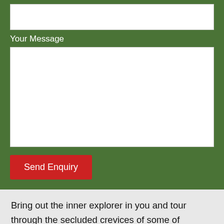[Figure (screenshot): Web form section with green background containing an input field, a 'Your Message' label, a large textarea, and a red 'Send Enquiry' button]
Bring out the inner explorer in you and tour through the secluded crevices of some of Southern Thailand’s most beautiful islands. Take a canoe out onto Phang Nga Bay to venture through the caves of Panak Island, Hong Island, and either Mangrove Cave or Diamond Cave. In addition, all trips include a stop at the famous James Bond Island, where “The Man With The Golden Gun” was filmed in 1974.